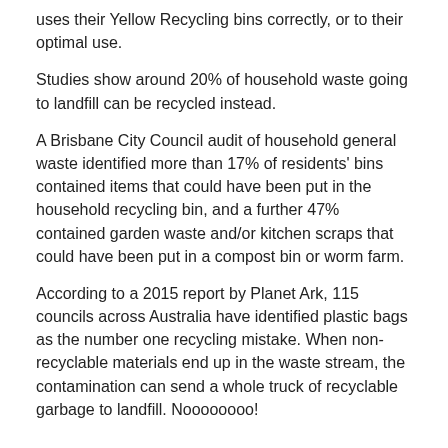uses their Yellow Recycling bins correctly, or to their optimal use.
Studies show around 20% of household waste going to landfill can be recycled instead.
A Brisbane City Council audit of household general waste identified more than 17% of residents' bins contained items that could have been put in the household recycling bin, and a further 47% contained garden waste and/or kitchen scraps that could have been put in a compost bin or worm farm.
According to a 2015 report by Planet Ark, 115 councils across Australia have identified plastic bags as the number one recycling mistake. When non-recyclable materials end up in the waste stream, the contamination can send a whole truck of recyclable garbage to landfill. Noooooooo!
RECYCLING GUIDELINES:
Here's a quick set of guidelines we put together based on our research of common recycling mistakes: